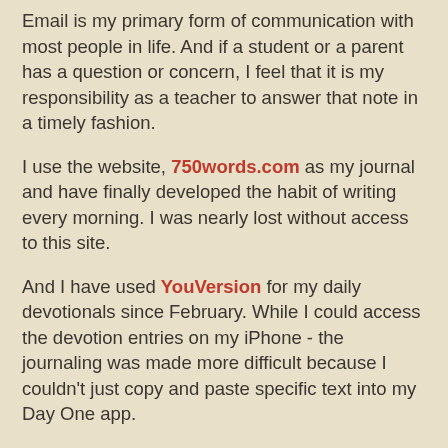Email is my primary form of communication with most people in life.  And if a student or a parent has a question or concern, I feel that it is my responsibility as a teacher to answer that note in a timely fashion.
I use the website, 750words.com as my journal and have finally developed the habit of writing every morning.  I was nearly lost without access to this site.
And I have used YouVersion for my daily devotionals since February.   While I could access the devotion entries on my iPhone - the journaling was made more difficult because I couldn't just copy and paste specific text into my Day One app.
Yes, it has been an interesting three days and while I learned that unplugging can bring me back to a simpler, less distracting life....I also learned that I am completely dependent upon it for some basic communication.  It is incredibly hard to believe that 20 years ago, I had never heard of the "world wide web"    and it makes me question